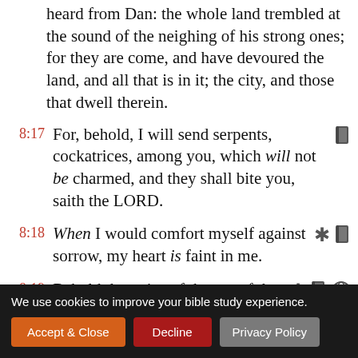heard from Dan: the whole land trembled at the sound of the neighing of his strong ones; for they are come, and have devoured the land, and all that is in it; the city, and those that dwell therein.
8:17 For, behold, I will send serpents, cockatrices, among you, which will not be charmed, and they shall bite you, saith the LORD.
8:18 When I would comfort myself against sorrow, my heart is faint in me.
8:19 Behold the voice of the cry of the
We use cookies to improve your bible study experience.
Accept & Close
Decline
Privacy Policy